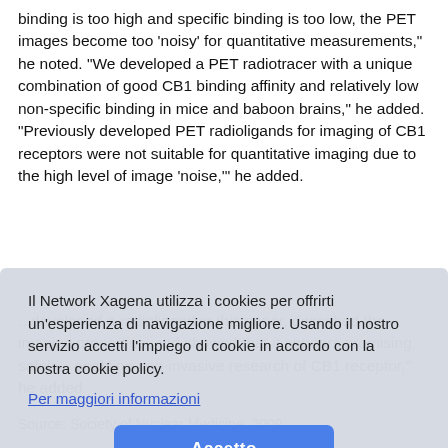binding is too high and specific binding is too low, the PET images become too 'noisy' for quantitative measurements," he noted. "We developed a PET radiotracer with a unique combination of good CB1 binding affinity and relatively low non-specific binding in mice and baboon brains," he added. "Previously developed PET radioligands for imaging of CB1 receptors were not suitable for quantitative imaging due to the high level of image 'noise,'" he added.
Il Network Xagena utilizza i cookies per offrirti un'esperienza di navigazione migliore. Usando il nostro servizio accetti l'impiego di cookie in accordo con la nostra cookie policy.
Per maggiori informazioni
Accetto
Source: Society of Nuclear Medicine, 2009